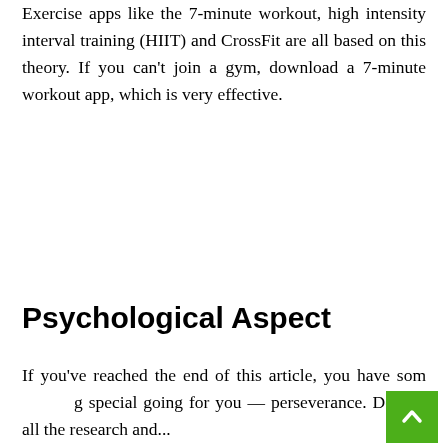Exercise apps like the 7-minute workout, high intensity interval training (HIIT) and CrossFit are all based on this theory. If you can't join a gym, download a 7-minute workout app, which is very effective.
Psychological Aspect
If you've reached the end of this article, you have something special going for you — perseverance. Despite all the research and...